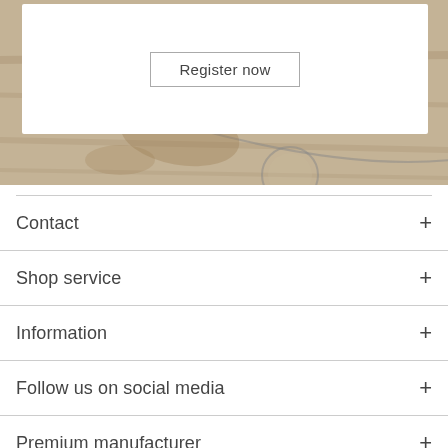[Figure (photo): Leather goods on a rustic wooden surface, with a white overlay box containing a 'Register now' button]
Contact +
Shop service +
Information +
Follow us on social media +
Premium manufacturer +
Premium quality +